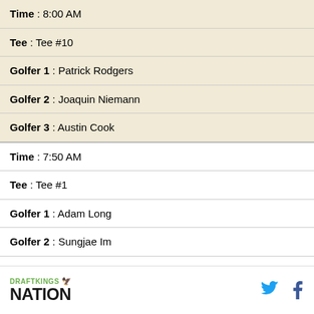| Time : 8:00 AM |
| Tee : Tee #10 |
| Golfer 1 : Patrick Rodgers |
| Golfer 2 : Joaquin Niemann |
| Golfer 3 : Austin Cook |
| Time : 7:50 AM |
| Tee : Tee #1 |
| Golfer 1 : Adam Long |
| Golfer 2 : Sungjae Im |
| Golfer 3 : Patton Kizzire |
DraftKings Nation